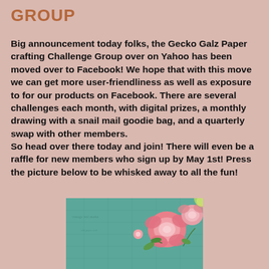GROUP
Big announcement today folks, the Gecko Galz Paper crafting Challenge Group over on Yahoo has been moved over to Facebook! We hope that with this move we can get more user-friendliness as well as exposure to for our products on Facebook. There are several challenges each month, with digital prizes, a monthly drawing with a snail mail goodie bag, and a quarterly swap with other members.
So head over there today and join! There will even be a raffle for new members who sign up by May 1st! Press the picture below to be whisked away to all the fun!
[Figure (illustration): Decorative floral illustration with pink roses on a teal/green vintage patterned background]